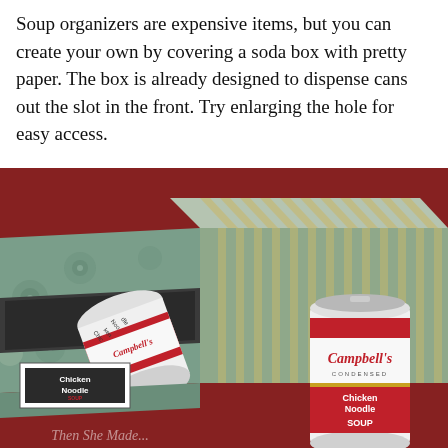Soup organizers are expensive items, but you can create your own by covering a soda box with pretty paper. The box is already designed to dispense cans out the slot in the front. Try enlarging the hole for easy access.
[Figure (photo): A decorated soda box covered in patterned paper (blue/green floral and striped) being used as a soup can organizer. A Campbell's Chicken Noodle Soup can is rolling out of the slot in the front of the box, and another upright Campbell's Chicken Noodle Soup can stands to the right. A label reading 'Chicken Noodle' is visible on the front of the box. A watermark reads 'Then She Made...' at the bottom.]